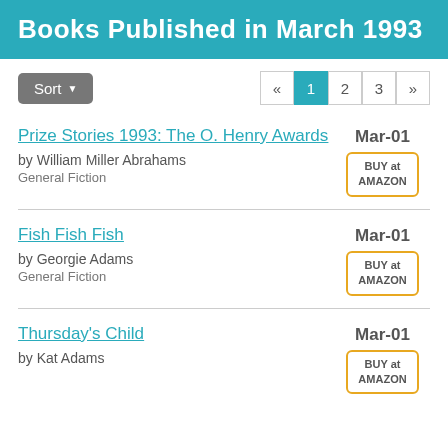Books Published in March 1993
Sort (dropdown button) | Pagination: « 1 2 3 »
Prize Stories 1993: The O. Henry Awards | by William Miller Abrahams | General Fiction | Mar-01 | BUY at AMAZON
Fish Fish Fish | by Georgie Adams | General Fiction | Mar-01 | BUY at AMAZON
Thursday's Child | by Kat Adams | Mar-01 | BUY at AMAZON